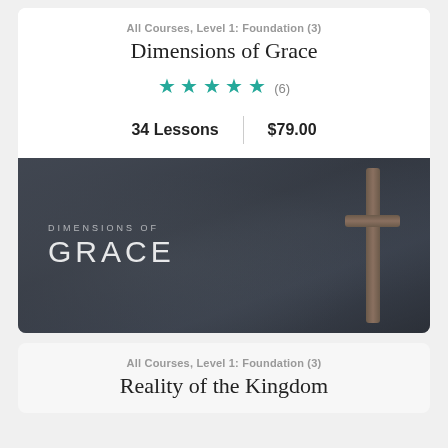All Courses, Level 1: Foundation (3)
Dimensions of Grace
★★★★★ (6)
34 Lessons  |  $79.00
[Figure (photo): Course thumbnail image showing a wooden cross against a dramatic stormy cloudy sky background with text 'Dimensions of Grace' overlaid]
All Courses, Level 1: Foundation (3)
Reality of the Kingdom